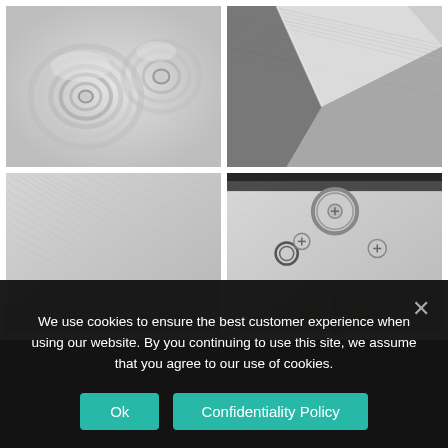[Figure (photo): Close-up macro photo of machined metal surface showing circular lathe-turned grooves and concentric spiral patterns on a polished metal component]
[Figure (photo): Close-up macro photo of brushed/ground metal surface showing angular intersecting edges with fine parallel linear texture marks]
[Figure (photo): Close-up macro photo of brushed metal surface showing fine diagonal linear grain texture on a flat metal workpiece]
[Figure (photo): Close-up macro photo of watch movement or precision mechanical component showing screws, rings, and decorative gold/orange star-shaped engraving on brushed metal surface]
We use cookies to ensure the best customer experience when using our website. By you continuing to use this site, we assume that you agree to our use of cookies.